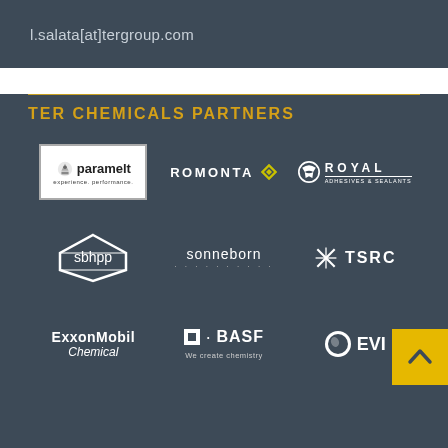l.salata[at]tergroup.com
TER CHEMICALS PARTNERS
[Figure (logo): Grid of partner company logos: Paramelt, ROMONTA, Royal Adhesives & Sealants, sbhpp, Sonneborn, TSRC, ExxonMobil Chemical, BASF We create chemistry, EVI (partially visible) with yellow scroll-to-top button]
[Figure (other): Yellow scroll-to-top button with upward chevron arrow in bottom right]